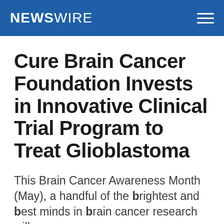NEWSWIRE
Cure Brain Cancer Foundation Invests in Innovative Clinical Trial Program to Treat Glioblastoma
This Brain Cancer Awareness Month (May), a handful of the brightest and best minds in brain cancer research will